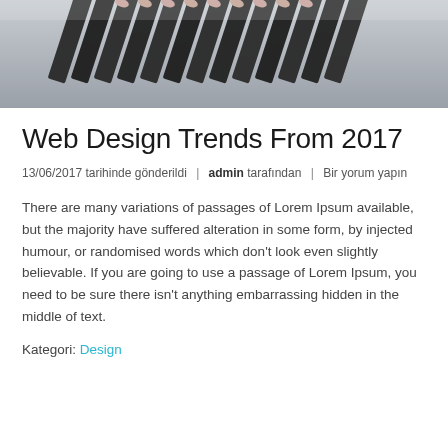[Figure (photo): Overhead view of black pencils arranged in a row on a light gray surface]
Web Design Trends From 2017
13/06/2017 tarihinde gönderildi | admin tarafından | Bir yorum yapın
There are many variations of passages of Lorem Ipsum available, but the majority have suffered alteration in some form, by injected humour, or randomised words which don't look even slightly believable. If you are going to use a passage of Lorem Ipsum, you need to be sure there isn't anything embarrassing hidden in the middle of text.
Kategori: Design